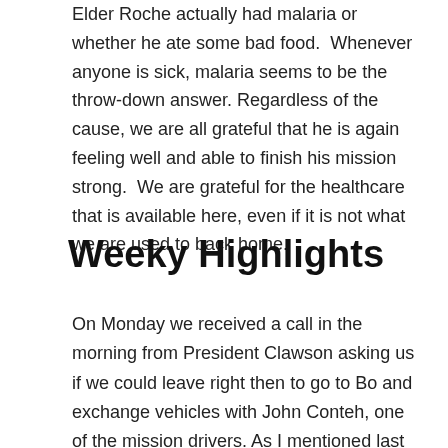Elder Roche actually had malaria or whether he ate some bad food.  Whenever anyone is sick, malaria seems to be the throw-down answer. Regardless of the cause, we are all grateful that he is again feeling well and able to finish his mission strong.  We are grateful for the healthcare that is available here, even if it is not what we are used to back home.
Weeky Highlights
On Monday we received a call in the morning from President Clawson asking us if we could leave right then to go to Bo and exchange vehicles with John Conteh, one of the mission drivers. As I mentioned last week, the 7th seal on the right rear tire had broken and it needed to go to Freetown for some major work on the back axel.